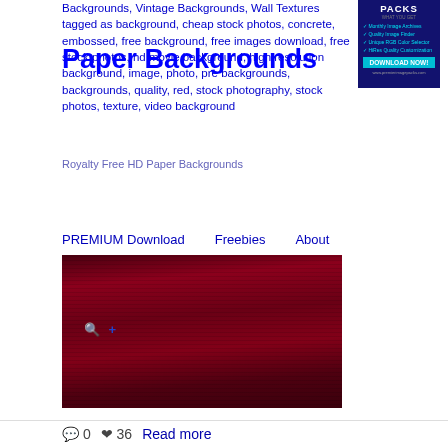Backgrounds, Vintage Backgrounds, Wall Textures tagged as background, cheap stock photos, concrete, embossed, free background, free images download, free stock photos, hd movie background, high resolution background, image, photo, pre backgrounds, backgrounds, quality, red, stock photography, stock photos, texture, video background
Paper Backgrounds
[Figure (screenshot): Advertisement box for image packs with dark blue background, teal download button]
Royalty Free HD Paper Backgrounds
PREMIUM Download    Freebies    About
[Figure (photo): Dark red wood texture or fabric background image with blue overlay icons showing search and add symbols]
💬 0   ♥ 36   Read more